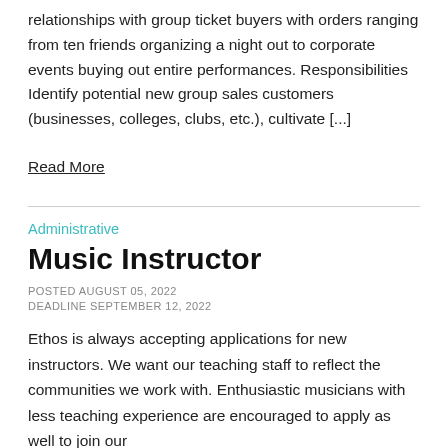relationships with group ticket buyers with orders ranging from ten friends organizing a night out to corporate events buying out entire performances. Responsibilities Identify potential new group sales customers (businesses, colleges, clubs, etc.), cultivate [...]
Read More
Administrative
Music Instructor
POSTED AUGUST 05, 2022
DEADLINE SEPTEMBER 12, 2022
Ethos is always accepting applications for new instructors. We want our teaching staff to reflect the communities we work with. Enthusiastic musicians with less teaching experience are encouraged to apply as well to join our